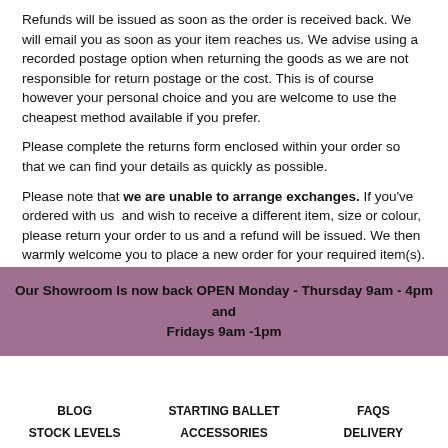Refunds will be issued as soon as the order is received back. We will email you as soon as your item reaches us. We advise using a recorded postage option when returning the goods as we are not responsible for return postage or the cost. This is of course however your personal choice and you are welcome to use the cheapest method available if you prefer.
Please complete the returns form enclosed within your order so that we can find your details as quickly as possible.
Please note that we are unable to arrange exchanges. If you've ordered with us and wish to receive a different item, size or colour, please return your order to us and a refund will be issued. We then warmly welcome you to place a new order for your required item(s).
Please contact us should you have any further questions and we'll be more than happy to clarify.
Our Showroom Is now back OPEN Monday - Thursday 9am - 4pm and Fridays 9am -1pm
BLOG   STARTING BALLET   FAQS
STOCK LEVELS   ACCESSORIES   DELIVERY